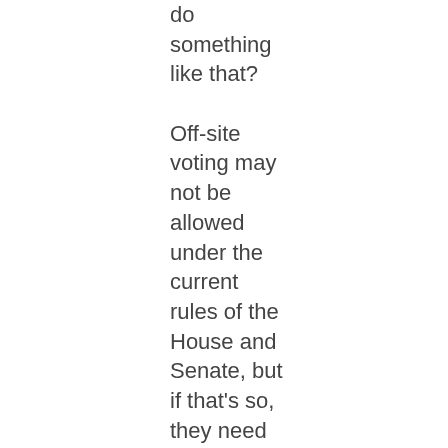do something like that? Off-site voting may not be allowed under the current rules of the House and Senate, but if that's so, they need to get together and change the rules – and then go home, if they want to,¹ and